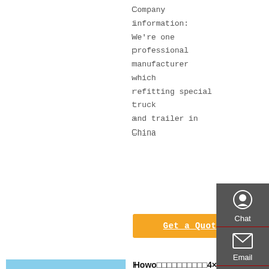Company information:
We're one professional manufacturer which refitting special truck and trailer in China
Get a Quote
[Figure (photo): A white HOWO semi-truck tractor parked in a yard with red warehouse buildings and clear blue sky in the background.]
Howo□□□□□□□□□□4×4□□□□□□□□ ...
SINO Used Sinotruck Howo Truck Price 20 30 50 70 100 Ton 6 × 4 371 Howo Tipper Used Dump Trucks. HOWO HEAVY DUTY